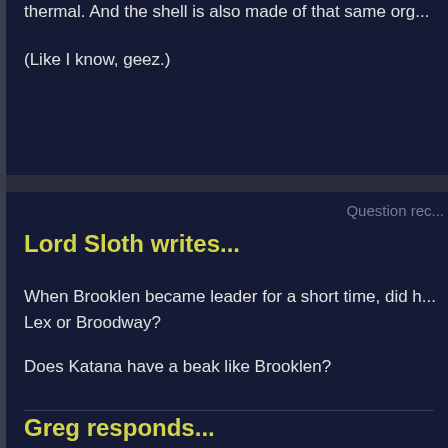thermal. And the shell is also made of that same org...
(Like I know, geez.)
Question rec...
Lord Sloth writes...
When Brooklen became leader for a short time, did h... Lex or Broodway?
Does Katana have a beak like Brooklen?
Greg responds...
Not saying.
Not saying.
Question rec...
Lord Sloth writes...